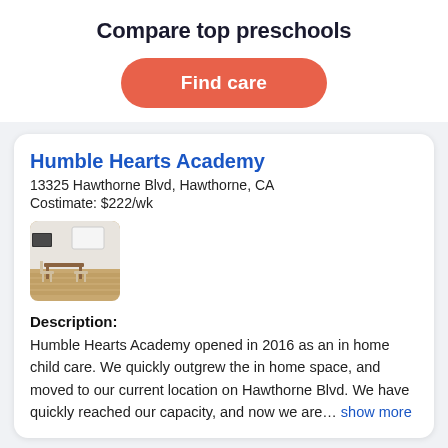Compare top preschools
Find care
Humble Hearts Academy
13325 Hawthorne Blvd, Hawthorne, CA
Costimate: $222/wk
[Figure (photo): Interior photo of Humble Hearts Academy showing a small classroom with wooden floor, table and chairs, whiteboard in the background.]
Description:
Humble Hearts Academy opened in 2016 as an in home child care. We quickly outgrew the in home space, and moved to our current location on Hawthorne Blvd. We have quickly reached our capacity, and now we are... show more